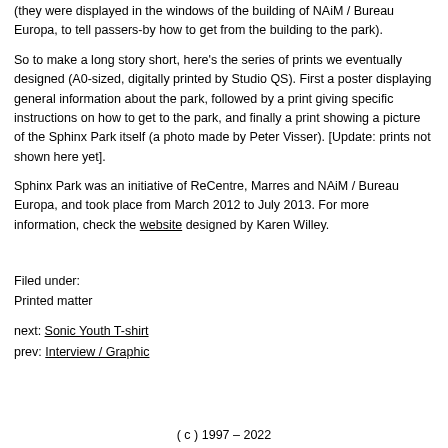(they were displayed in the windows of the building of NAiM / Bureau Europa, to tell passers-by how to get from the building to the park).
So to make a long story short, here's the series of prints we eventually designed (A0-sized, digitally printed by Studio QS). First a poster displaying general information about the park, followed by a print giving specific instructions on how to get to the park, and finally a print showing a picture of the Sphinx Park itself (a photo made by Peter Visser). [Update: prints not shown here yet].
Sphinx Park was an initiative of ReCentre, Marres and NAiM / Bureau Europa, and took place from March 2012 to July 2013. For more information, check the website designed by Karen Willey.
Filed under:
Printed matter
next: Sonic Youth T-shirt
prev: Interview / Graphic
( c ) 1997 – 2022